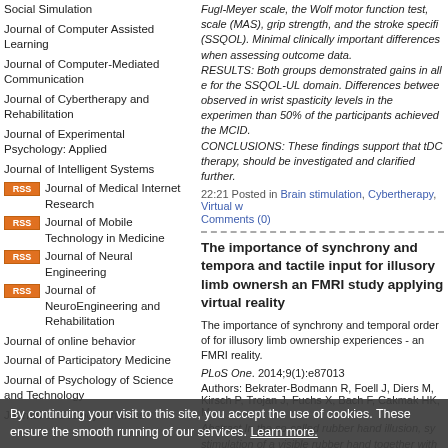Social Simulation
Journal of Computer Assisted Learning
Journal of Computer-Mediated Communication
Journal of Cybertherapy and Rehabilitation
Journal of Experimental Psychology: Applied
Journal of Intelligent Systems
Journal of Medical Internet Research
Journal of Mobile Technology in Medicine
Journal of Neural Engineering
Journal of NeuroEngineering and Rehabilitation
Journal of online behavior
Journal of Participatory Medicine
Journal of Psychology of Science and Technology
Journal of Sociocybernetics
Fugl-Meyer scale, the Wolf motor function test, scale (MAS), grip strength, and the stroke specific (SSQOL). Minimal clinically important differences when assessing outcome data. RESULTS: Both groups demonstrated gains in all e for the SSQOL-UL domain. Differences between observed in wrist spasticity levels in the experiment than 50% of the participants achieved the MCID. CONCLUSIONS: These findings support that tDC therapy, should be investigated and clarified further.
22:21 Posted in Brain stimulation, Cybertherapy, Virtual w Comments (0)
The importance of synchrony and temporal order and tactile input for illusory limb ownership - an FMRI study applying virtual reality
The importance of synchrony and temporal order of for illusory limb ownership experiences - an FMRI reality.
PLoS One. 2014;9(1):e87013
Authors: Bekrater-Bodmann R, Foell J, Diers M, Kirsch P, Trojan J, Fuchs X, Bach F, Cakmak HK, M
Abstract In the so-called rubber hand illusion, sy stimulation of a visible rubber hand together with elicits ownership experiences for the artificial li